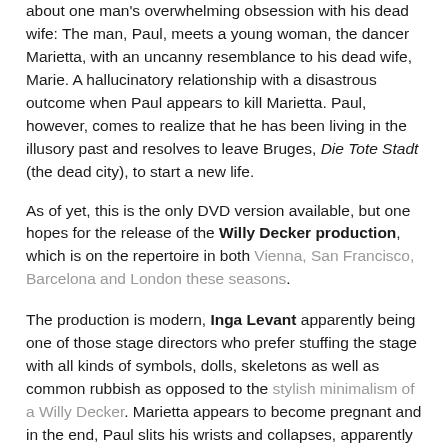about one man's overwhelming obsession with his dead wife: The man, Paul, meets a young woman, the dancer Marietta, with an uncanny resemblance to his dead wife, Marie. A hallucinatory relationship with a disastrous outcome when Paul appears to kill Marietta. Paul, however, comes to realize that he has been living in the illusory past and resolves to leave Bruges, Die Tote Stadt (the dead city), to start a new life.
As of yet, this is the only DVD version available, but one hopes for the release of the Willy Decker production, which is on the repertoire in both Vienna, San Francisco, Barcelona and London these seasons.
The production is modern, Inga Levant apparently being one of those stage directors who prefer stuffing the stage with all kinds of symbols, dolls, skeletons as well as common rubbish as opposed to the stylish minimalism of a Willy Decker. Marietta appears to become pregnant and in the end, Paul slits his wrists and collapses, apparently unable to put the past behind him after all.